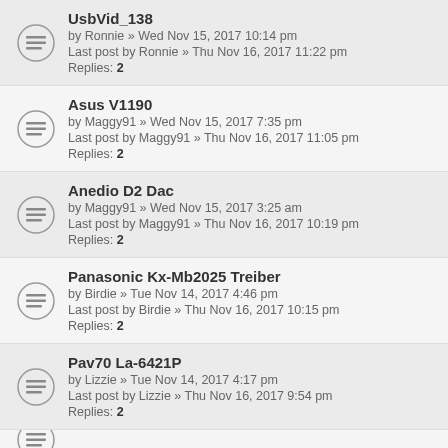UsbVid_138 by Ronnie » Wed Nov 15, 2017 10:14 pm Last post by Ronnie » Thu Nov 16, 2017 11:22 pm Replies: 2
Asus V1190 by Maggy91 » Wed Nov 15, 2017 7:35 pm Last post by Maggy91 » Thu Nov 16, 2017 11:05 pm Replies: 2
Anedio D2 Dac by Maggy91 » Wed Nov 15, 2017 3:25 am Last post by Maggy91 » Thu Nov 16, 2017 10:19 pm Replies: 2
Panasonic Kx-Mb2025 Treiber by Birdie » Tue Nov 14, 2017 4:46 pm Last post by Birdie » Thu Nov 16, 2017 10:15 pm Replies: 2
Pav70 La-6421P by Lizzie » Tue Nov 14, 2017 4:17 pm Last post by Lizzie » Thu Nov 16, 2017 9:54 pm Replies: 2
(partial item cut off at bottom)